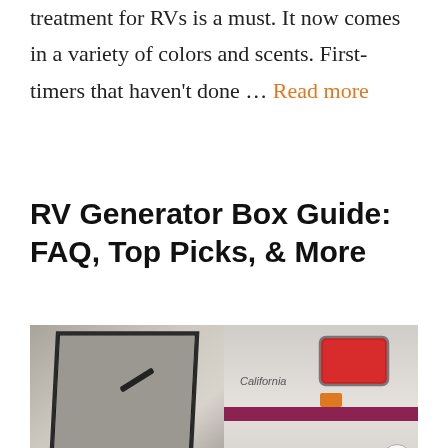treatment for RVs is a must. It now comes in a variety of colors and scents. First-timers that haven't done … Read more
RV Generator Box Guide: FAQ, Top Picks, & More
[Figure (photo): Photo of an RV exterior showing a generator box panel on the left side and red tail light with maroon stripe on the right side]